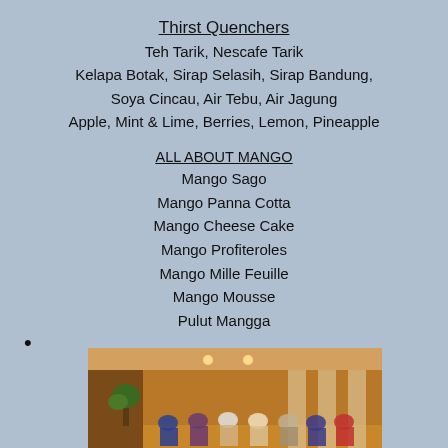Thirst Quenchers
Teh Tarik, Nescafe Tarik
Kelapa Botak, Sirap Selasih, Sirap Bandung,
Soya Cincau, Air Tebu, Air Jagung
Apple, Mint & Lime, Berries, Lemon, Pineapple
ALL ABOUT MANGO
Mango Sago
Mango Panna Cotta
Mango Cheese Cake
Mango Profiteroles
Mango Mille Feuille
Mango Mousse
Pulut Mangga
[Figure (photo): Indoor banquet hall photo showing people gathered, warm amber-toned lighting, curtained walls, and a plant near the entrance.]